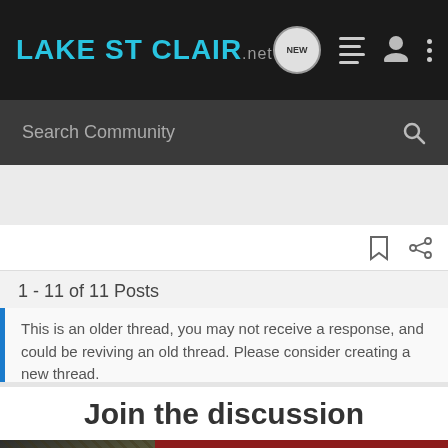LakeStClair.NET — navigation bar with search
Search Community
1 - 11 of 11 Posts
This is an older thread, you may not receive a response, and could be reviving an old thread. Please consider creating a new thread.
Join the discussion
[Figure (photo): Advertisement banner: YOUR NEW FAVORITE SPORT — EXPLORE HOW TO RESPONSIBLY PARTICIPATE IN THE SHOOTING SPORTS. START HERE!]